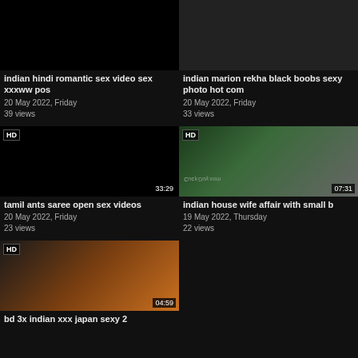[Figure (screenshot): Video thumbnail - dark/black placeholder with partial image at top]
indian hindi romantic sex video sex xxxww pos
20 May 2022, Friday
39 views
[Figure (screenshot): Video thumbnail - partial image at top]
indian marion rekha black boobs sexy photo hot com
20 May 2022, Friday
33 views
[Figure (screenshot): Video thumbnail HD - black screen, duration 33:29]
tamil ants saree open sex videos
20 May 2022, Friday
23 views
[Figure (screenshot): Video thumbnail HD - couple kissing, green background, duration 07:31, watermark cuckguy.com]
indian house wife affair with small b
19 May 2022, Thursday
22 views
[Figure (screenshot): Video thumbnail HD - asian woman, duration 04:59]
bd 3x indian xxx japan sexy 2